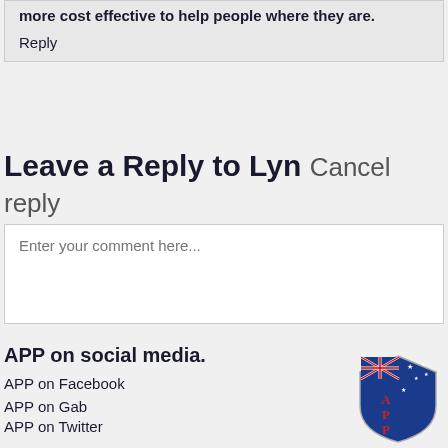more cost effective to help people where they are.
Reply
Leave a Reply to Lyn Cancel reply
Enter your comment here...
APP on social media.
APP on Facebook
APP on Gab
APP on Twitter
[Figure (logo): APP shield logo with Australian flag and letters A, P, P on a blue shield background]
Please enter the Page ID of the Facebook feed you'd like to display. You can do this in either the Custom Facebook Feed plugin settings or in the shortcode itself. For example, [custom-facebook-feed